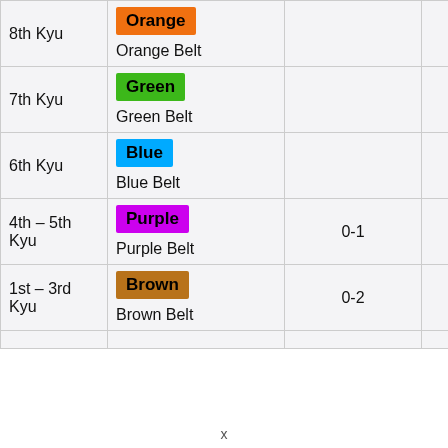| Kyu | Belt | Stripes | Tip Color |
| --- | --- | --- | --- |
| 8th Kyu | Orange / Orange Belt |  |  |
| 7th Kyu | Green / Green Belt |  |  |
| 6th Kyu | Blue / Blue Belt |  |  |
| 4th – 5th Kyu | Purple / Purple Belt | 0-1 | Black |
| 1st – 3rd Kyu | Brown / Brown Belt | 0-2 | Black |
x